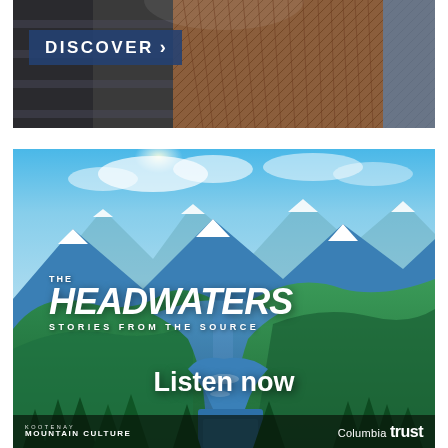[Figure (illustration): Top advertisement banner showing outdoor lifestyle image with textured background of clothing/nature textures and a 'DISCOVER >' button overlay in dark blue]
[Figure (illustration): Advertisement for 'The Headwaters: Stories from the Source' podcast. Features a painted illustration of a mountain river valley with snow-capped peaks, green forested hills, and a winding blue river. Text overlay includes 'THE HEADWATERS STORIES FROM THE SOURCE' and 'Listen now'. Footer shows 'KOOTENAY MOUNTAIN CULTURE' and 'Columbia Trust' logos.]